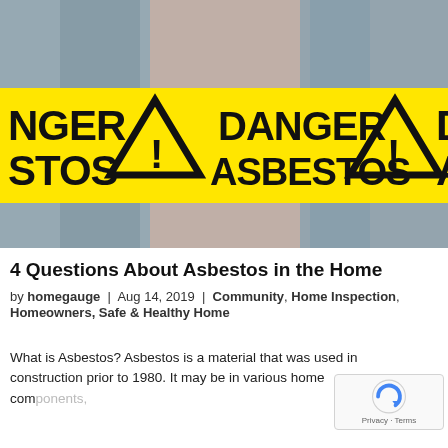[Figure (photo): Yellow danger asbestos warning tape showing 'DANGER ASBESTOS' text with warning triangle symbols, photographed against a blurred background]
4 Questions About Asbestos in the Home
by homegauge | Aug 14, 2019 | Community, Home Inspection, Homeowners, Safe & Healthy Home
What is Asbestos? Asbestos is a material that was used in construction prior to 1980. It may be in various home components,